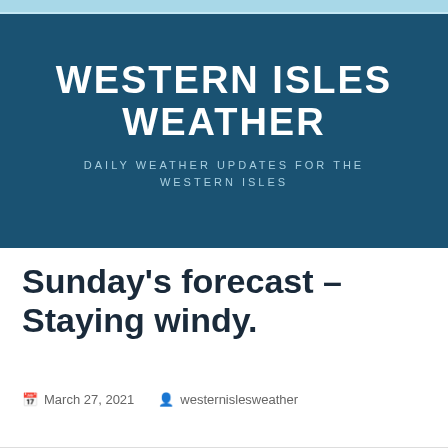WESTERN ISLES WEATHER
DAILY WEATHER UPDATES FOR THE WESTERN ISLES
Sunday's forecast – Staying windy.
March 27, 2021   westernislesweather